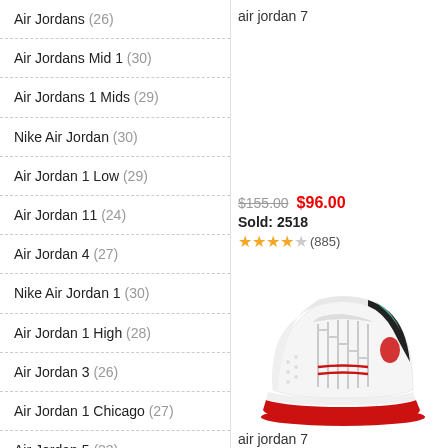Air Jordans (26)
Air Jordans Mid 1 (30)
Air Jordans 1 Mids (29)
Nike Air Jordan (30)
Air Jordan 1 Low (29)
Air Jordan 11 (24)
Air Jordan 4 (27)
Nike Air Jordan 1 (30)
Air Jordan 1 High (28)
Air Jordan 3 (26)
Air Jordan 1 Chicago (27)
Air Jordan 5 (23)
Air Jordan 6 (29)
Air Jordan Shoes (23)
Air Jordan 12 (27)
air jordan 7
$155.00  $96.00  Sold: 2518  ★★★★☆(885)
[Figure (photo): White Air Jordan 7 sneaker with red sole and teal/green accent, viewed from the side]
air jordan 7